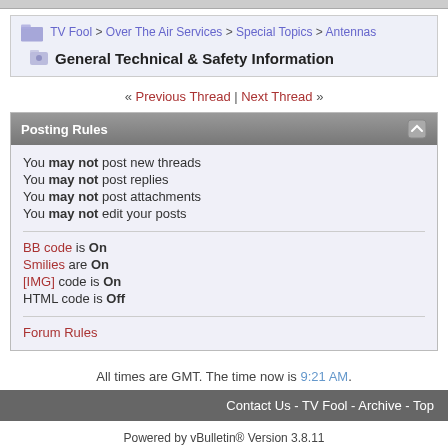TV Fool > Over The Air Services > Special Topics > Antennas — General Technical & Safety Information
« Previous Thread | Next Thread »
Posting Rules
You may not post new threads
You may not post replies
You may not post attachments
You may not edit your posts
BB code is On
Smilies are On
[IMG] code is On
HTML code is Off
Forum Rules
All times are GMT. The time now is 9:21 AM.
Contact Us - TV Fool - Archive - Top
Powered by vBulletin® Version 3.8.11
Copyright ©2000 - 2022, vBulletin Solutions Inc.
Copyright ©2022 TV Fool, LLC